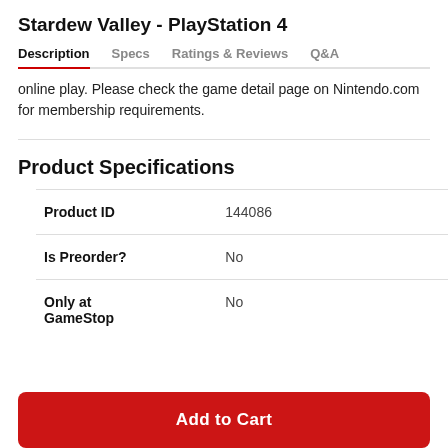Stardew Valley - PlayStation 4
Description | Specs | Ratings & Reviews | Q&A
online play. Please check the game detail page on Nintendo.com for membership requirements.
Product Specifications
|  |  |
| --- | --- |
| Product ID | 144086 |
| Is Preorder? | No |
| Only at GameStop | No |
Add to Cart